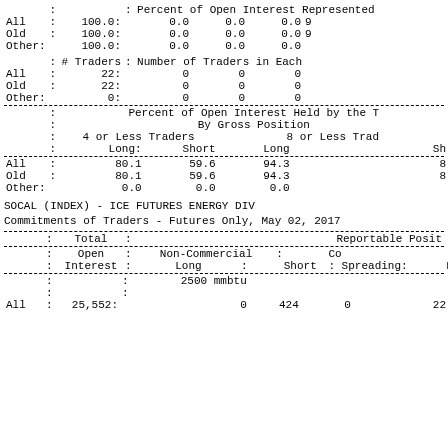|  | : |  | : | Percent of Open Interest Represented |
| All | : | 100.0: | 0.0 | 0.0 | 0.0 | 9 |
| Old | : | 100.0: | 0.0 | 0.0 | 0.0 | 9 |
| Other: |  | 100.0: | 0.0 | 0.0 | 0.0 |  |
|  | :# Traders : |  | Number of Traders in Each |
| All | : | 22: | 0 | 0 | 0 |
| Old | : | 22: | 0 | 0 | 0 |
| Other: |  | 0: | 0 | 0 | 0 |
|  | : | Percent of Open Interest Held by the T |
|  | : | By Gross Position |
|  | : | 4 or Less Traders | 8 or Less Trad |
|  | : | Long: | Short | Long | Sh |
| All | : | 80.1 | 59.6 | 94.3 | 8 |
| Old | : | 80.1 | 59.6 | 94.3 | 8 |
| Other: |  | 0.0 | 0.0 | 0.0 |  |
SOCAL (INDEX) - ICE FUTURES ENERGY DIV
Commitments of Traders - Futures Only, May 02, 2017
| Total | Reportable Posit |
| --- | --- |
| Open | Non-Commercial | Co |
| Interest | Long | Short | Spreading: | Long |
: 2500 mmbtu
All : 25,552: 0 424 0 22